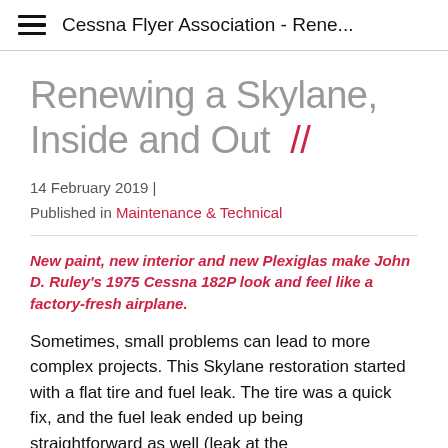≡  Cessna Flyer Association - Rene...
Renewing a Skylane, Inside and Out  //
14 February 2019 |
Published in Maintenance & Technical
New paint, new interior and new Plexiglas make John D. Ruley's 1975 Cessna 182P look and feel like a factory-fresh airplane.
Sometimes, small problems can lead to more complex projects. This Skylane restoration started with a flat tire and fuel leak. The tire was a quick fix, and the fuel leak ended up being straightforward as well (leak at the